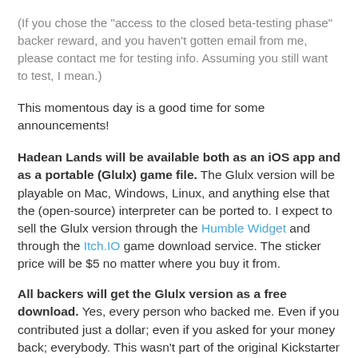(If you chose the "access to the closed beta-testing phase" backer reward, and you haven't gotten email from me, please contact me for testing info. Assuming you still want to test, I mean.)
This momentous day is a good time for some announcements!
Hadean Lands will be available both as an iOS app and as a portable (Glulx) game file. The Glulx version will be playable on Mac, Windows, Linux, and anything else that the (open-source) interpreter can be ported to. I expect to sell the Glulx version through the Humble Widget and through the Itch.IO game download service. The sticker price will be $5 no matter where you buy it from.
All backers will get the Glulx version as a free download. Yes, every person who backed me. Even if you contributed just a dollar; even if you asked for your money back; everybody. This wasn't part of the original Kickstarter plan, but you deserve something extra for waiting this long.